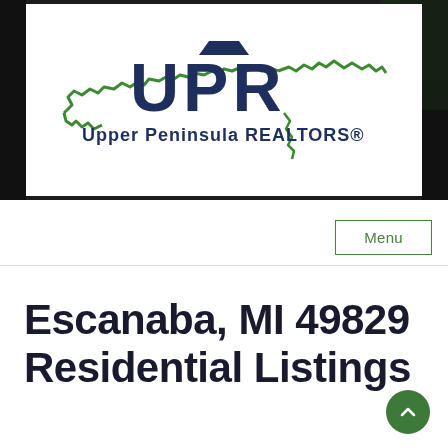[Figure (logo): UPR Upper Peninsula REALTORS® logo with outline map of Michigan's Upper Peninsula in green and bold UPR letters in dark navy blue]
Menu
Escanaba, MI 49829 Residential Listings